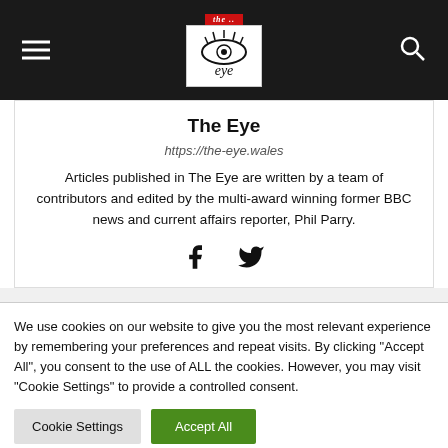The Eye — navigation header with hamburger menu, logo, and search icon
The Eye
https://the-eye.wales
Articles published in The Eye are written by a team of contributors and edited by the multi-award winning former BBC news and current affairs reporter, Phil Parry.
[Figure (other): Facebook and Twitter social media icons]
We use cookies on our website to give you the most relevant experience by remembering your preferences and repeat visits. By clicking "Accept All", you consent to the use of ALL the cookies. However, you may visit "Cookie Settings" to provide a controlled consent.